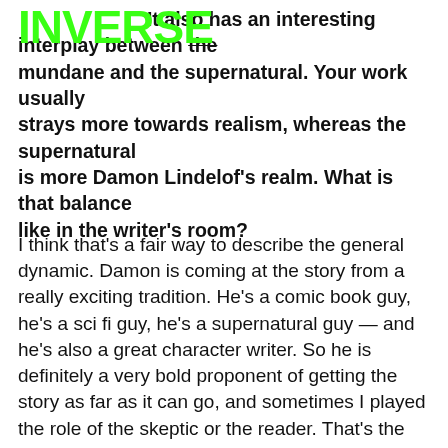INVERSE
It also has an interesting interplay between the mundane and the supernatural. Your work usually strays more towards realism, whereas the supernatural is more Damon Lindelof’s realm. What is that balance like in the writer’s room?
I think that’s a fair way to describe the general dynamic. Damon is coming at the story from a really exciting tradition. He’s a comic book guy, he’s a sci fi guy, he’s a supernatural guy — and he’s also a great character writer. So he is definitely a very bold proponent of getting the story as far as it can go, and sometimes I played the role of the skeptic or the reader. That’s the kind of interesting tension. I will say that this season, we seemed to have internalized each other’s perspectives and sometimes we reverse. That can be fun and a little